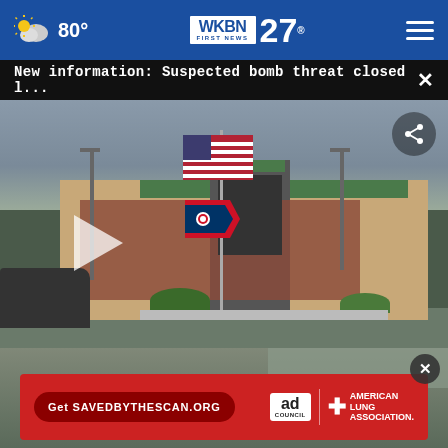80° WKBN FIRST NEWS 27
New information: Suspected bomb threat closed l...
[Figure (screenshot): News video thumbnail showing a building with American flag and Ohio state flag, brick exterior with green roof, parking lot in foreground, cloudy sky. Play button visible in lower left area. Share icon upper right.]
[Figure (screenshot): Advertisement overlay for American Lung Association showing red banner with 'Get SAVEDBYTHESCAN.ORG' button and Ad Council / American Lung Association logo on right. Close button (X) at top right.]